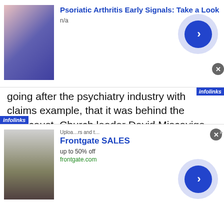[Figure (screenshot): Top advertisement banner: image of person in blue dress, title 'Psoriatic Arthritis Early Signals: Take a Look', subtitle 'n/a', with blue circular arrow button and infolinks label]
going after the psychiatry industry with claims example, that it was behind the Holocaust. Church leader David Miscavige speaks openly about Scientology's goal to eradicate the mental health industry and replace it with Hubbard's ideas.
But Laurel pointed out that Real Water benefits many other charities, and that CCHR's criticism of psychiatric medicine is one a lot of people share.
We asked her to check with Aimee Jones about her
[Figure (screenshot): Bottom advertisement banner: image of outdoor patio furniture with fire pit, title 'Frontgate SALES', subtitle 'up to 50% off', URL 'frontgate.com', with blue circular arrow button]